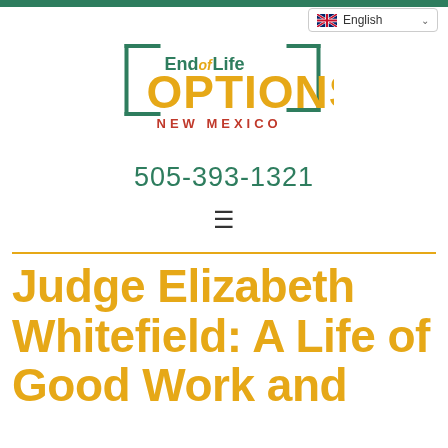End of Life Options New Mexico | 505-393-1321
[Figure (logo): End of Life OPTIONS NEW MEXICO logo with green bracket/state outline and yellow OPTIONS text]
505-393-1321
≡
Judge Elizabeth Whitefield: A Life of Good Work and